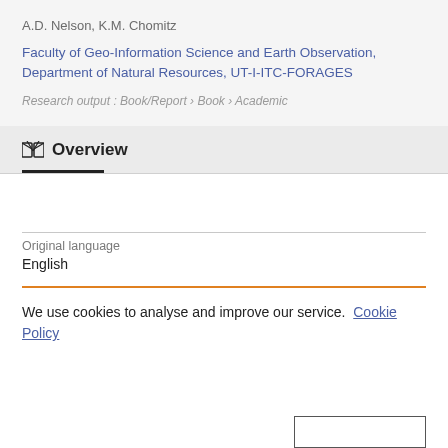A.D. Nelson, K.M. Chomitz
Faculty of Geo-Information Science and Earth Observation, Department of Natural Resources, UT-I-ITC-FORAGES
Research output: Book/Report › Book › Academic
Overview
Original language
English
We use cookies to analyse and improve our service. Cookie Policy